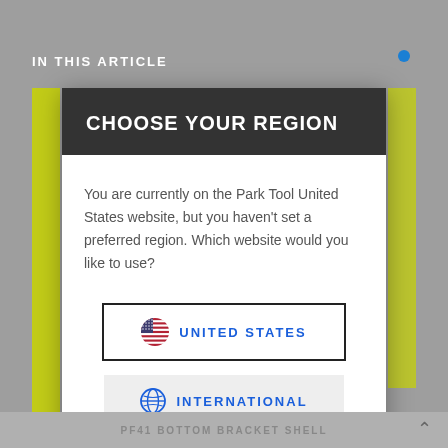IN THIS ARTICLE
CHOOSE YOUR REGION
You are currently on the Park Tool United States website, but you haven't set a preferred region. Which website would you like to use?
UNITED STATES
INTERNATIONAL
PF41 BOTTOM BRACKET SHELL